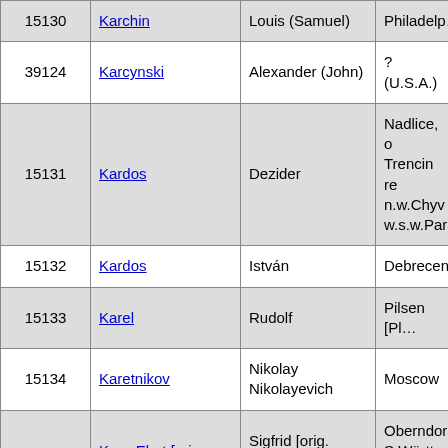| ID | Last Name | First Name | Location |
| --- | --- | --- | --- |
| 15130 | Karchin | Louis (Samuel) | Philadelp… |
| 39124 | Karcynski | Alexander (John) | ?(U.S.A.) |
| 15131 | Kardos | Dezider | Nadlice, o Trencin re n.w.Chyv w.s.w.Par… |
| 15132 | Kardos | István | Debrecen |
| 15133 | Karel | Rudolf | Pilsen [Pl… |
| 15134 | Karetnikov | Nikolay Nikolayevich | Moscow |
| 15137 | Karg-Elert [orig. Karg] | Sigfrid [orig. Siegfried Theodor] | Oberndor S.Württ., Freiburg i Baden] |
|  |  |  |  |